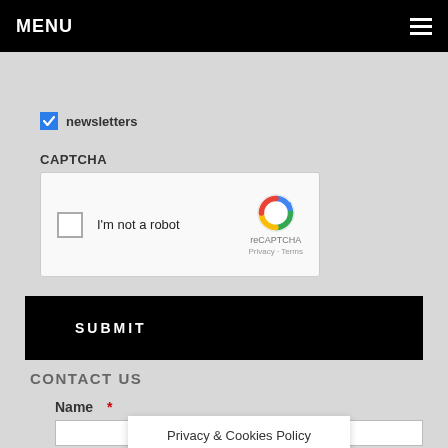MENU
newsletters
CAPTCHA
[Figure (screenshot): reCAPTCHA widget with checkbox 'I'm not a robot', reCAPTCHA logo, Privacy · Terms links]
SUBMIT
CONTACT US
Name *
Privacy & Cookies Policy